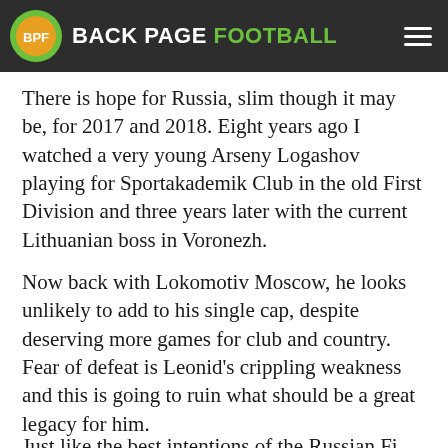Kazakhstan.
BACK PAGE FOOTBALL
There is hope for Russia, slim though it may be, for 2017 and 2018. Eight years ago I watched a very young Arseny Logashov playing for Sportakademik Club in the old First Division and three years later with the current Lithuanian boss in Voronezh.
Now back with Lokomotiv Moscow, he looks unlikely to add to his single cap, despite deserving more games for club and country. Fear of defeat is Leonid's crippling weakness and this is going to ruin what should be a great legacy for him.
Just like the best intentions of the Russian Five…